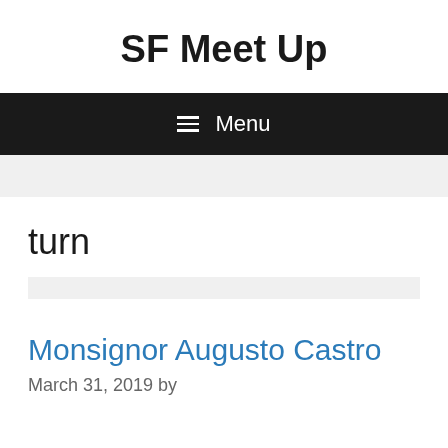SF Meet Up
≡ Menu
turn
Monsignor Augusto Castro
March 31, 2019 by